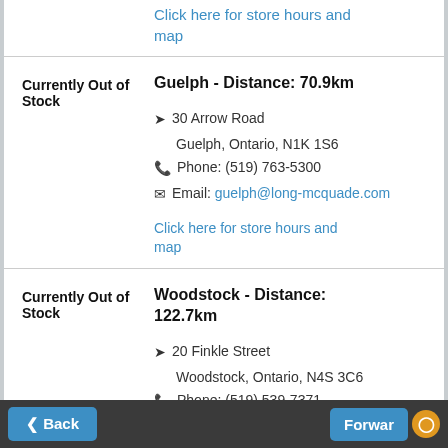Click here for store hours and map
Currently Out of Stock
Guelph - Distance: 70.9km
30 Arrow Road
Guelph, Ontario, N1K 1S6
Phone: (519) 763-5300
Email: guelph@long-mcquade.com
Click here for store hours and map
Currently Out of Stock
Woodstock - Distance: 122.7km
20 Finkle Street
Woodstock, Ontario, N4S 3C6
Phone: (519) 539-7371
Email:
Back  Forward